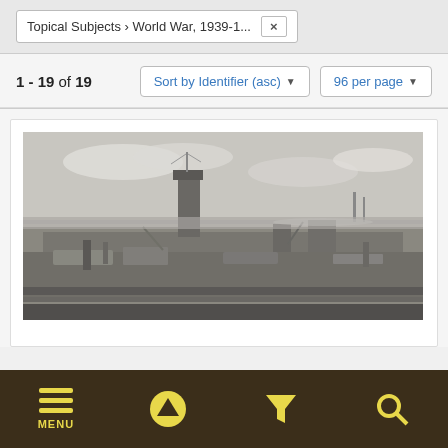Topical Subjects > World War, 1939-1...  ×
1 - 19 of 19
Sort by Identifier (asc) ▾
96 per page ▾
[Figure (photo): Black and white aerial photograph of a heavily damaged naval vessel or shipyard, showing destroyed structures, smokestacks, and industrial wreckage near a harbor with water visible in the background and mountains or hills on the horizon.]
MENU  ▲  ▼  🔍